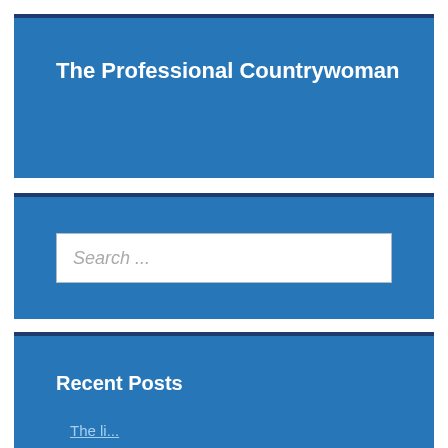The Professional Countrywoman
Search ...
Recent Posts